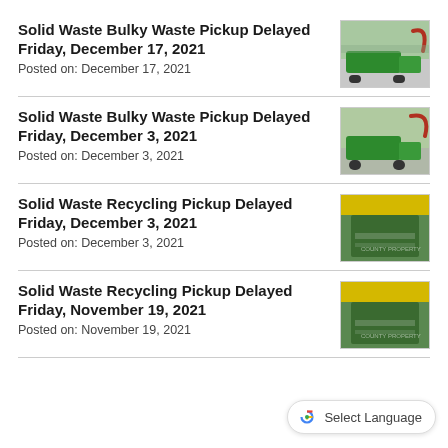Solid Waste Bulky Waste Pickup Delayed Friday, December 17, 2021
Posted on: December 17, 2021
[Figure (photo): Green waste/bulky waste truck with crane arm]
Solid Waste Bulky Waste Pickup Delayed Friday, December 3, 2021
Posted on: December 3, 2021
[Figure (photo): Green waste/bulky waste truck with crane arm]
Solid Waste Recycling Pickup Delayed Friday, December 3, 2021
Posted on: December 3, 2021
[Figure (photo): Green recycling bin with yellow lid]
Solid Waste Recycling Pickup Delayed Friday, November 19, 2021
Posted on: November 19, 2021
[Figure (photo): Green recycling bin with yellow lid]